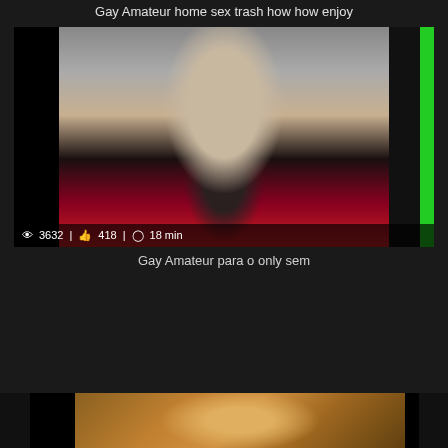Gay Amateur home sex trash how how enjoy
[Figure (screenshot): Video thumbnail showing two men, one with tattoos on his back, in a room with a lamp and TV. Views: 3632, Likes: 418, Duration: 18 min. Green bar on right side of thumbnail.]
Gay Amateur para o only sem
[Figure (screenshot): Partial bottom video thumbnail showing an outdoor or tropical scene.]